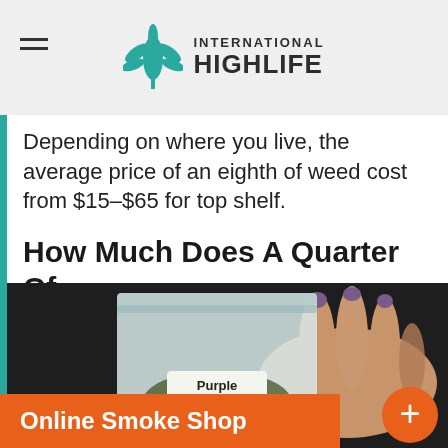International Highlife
Depending on where you live, the average price of an eighth of weed cost from $15-$65 for top shelf.
How Much Does A Quarter Of Weed Cost?
[Figure (photo): A hand holding a clear plastic zip-lock bag labeled 'Purple Lightning' containing cannabis]
Online Smoke Shop